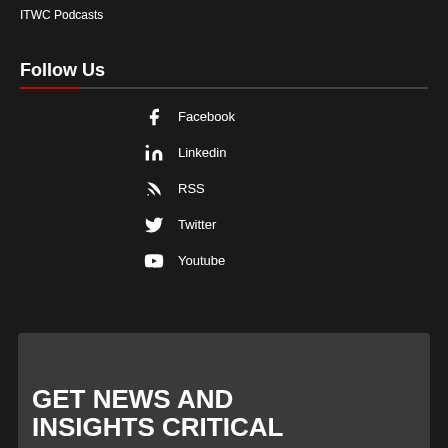ITWC Podcasts
Follow Us
Facebook
Linkedin
RSS
Twitter
Youtube
GET NEWS AND INSIGHTS CRITICAL